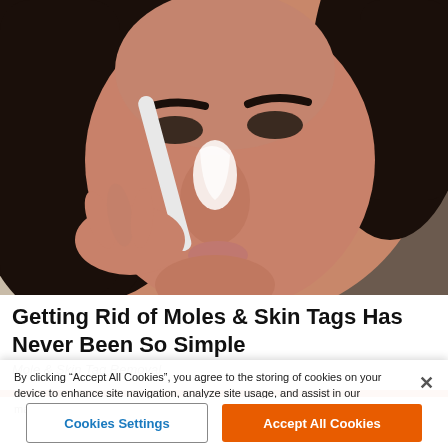[Figure (photo): A woman with dark hair applying a white substance to her nose with a cotton swab or applicator. Close-up shot of her face showing the application of a product near the nose area. Background is neutral/blurred.]
Getting Rid of Moles & Skin Tags Has Never Been So Simple
Mole & Skin Tag Removal
By clicking “Accept All Cookies”, you agree to the storing of cookies on your device to enhance site navigation, analyze site usage, and assist in our marketing efforts.
Cookies Settings
Accept All Cookies